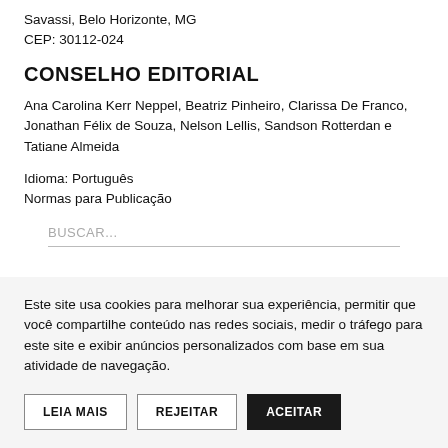Savassi, Belo Horizonte, MG
CEP: 30112-024
CONSELHO EDITORIAL
Ana Carolina Kerr Neppel, Beatriz Pinheiro, Clarissa De Franco, Jonathan Félix de Souza, Nelson Lellis, Sandson Rotterdan e Tatiane Almeida
Idioma: Português
Normas para Publicação
BUSCAR...
Este site usa cookies para melhorar sua experiência, permitir que você compartilhe conteúdo nas redes sociais, medir o tráfego para este site e exibir anúncios personalizados com base em sua atividade de navegação.
LEIA MAIS | REJEITAR | ACEITAR